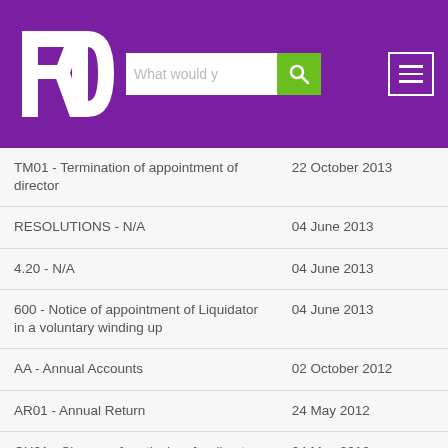FD logo with search bar and menu
| Description | Date |
| --- | --- |
| TM01 - Termination of appointment of director | 22 October 2013 |
| RESOLUTIONS - N/A | 04 June 2013 |
| 4.20 - N/A | 04 June 2013 |
| 600 - Notice of appointment of Liquidator in a voluntary winding up | 04 June 2013 |
| AA - Annual Accounts | 02 October 2012 |
| AR01 - Annual Return | 24 May 2012 |
| CH01 - Change of particulars for director | 24 May 2012 |